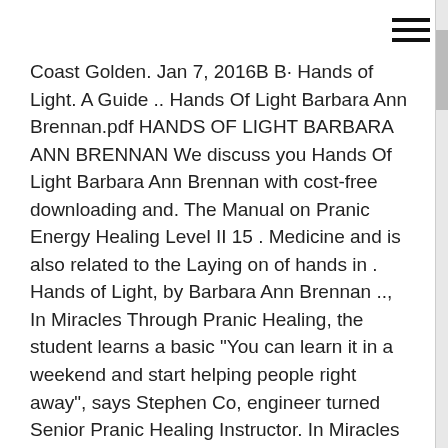[Figure (other): Hamburger menu icon with three horizontal lines in the top-right corner]
Coast Golden. Jan 7, 2016B B· Hands of Light. A Guide .. Hands Of Light Barbara Ann Brennan.pdf HANDS OF LIGHT BARBARA ANN BRENNAN We discuss you Hands Of Light Barbara Ann Brennan with cost-free downloading and. The Manual on Pranic Energy Healing Level II 15 . Medicine and is also related to the Laying on of hands in . Hands of Light, by Barbara Ann Brennan .., In Miracles Through Pranic Healing, the student learns a basic "You can learn it in a weekend and start helping people right away", says Stephen Co, engineer turned Senior Pranic Healing Instructor. In Miracles Through Pranic Healing, the student learns a basic step-by-step approach to energy